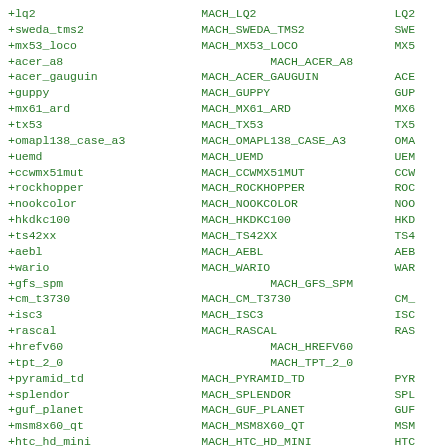+lq2                        MACH_LQ2                    LQ2
+sweda_tms2                 MACH_SWEDA_TMS2             SWE
+mx53_loco                  MACH_MX53_LOCO              MX5
+acer_a8                              MACH_ACER_A8
+acer_gauguin               MACH_ACER_GAUGUIN           ACE
+guppy                      MACH_GUPPY                  GUP
+mx61_ard                   MACH_MX61_ARD               MX6
+tx53                       MACH_TX53                   TX5
+omapl138_case_a3           MACH_OMAPL138_CASE_A3       OMA
+uemd                       MACH_UEMD                   UEM
+ccwmx51mut                 MACH_CCWMX51MUT             CCW
+rockhopper                 MACH_ROCKHOPPER             ROC
+nookcolor                  MACH_NOOKCOLOR              NOO
+hkdkc100                   MACH_HKDKC100               HKD
+ts42xx                     MACH_TS42XX                 TS4
+aebl                       MACH_AEBL                   AEB
+wario                      MACH_WARIO                  WAR
+gfs_spm                              MACH_GFS_SPM
+cm_t3730                   MACH_CM_T3730               CM_
+isc3                       MACH_ISC3                   ISC
+rascal                     MACH_RASCAL                 RAS
+hrefv60                              MACH_HREFV60
+tpt_2_0                              MACH_TPT_2_0
+pyramid_td                 MACH_PYRAMID_TD             PYR
+splendor                   MACH_SPLENDOR               SPL
+guf_planet                 MACH_GUF_PLANET             GUF
+msm8x60_qt                 MACH_MSM8X60_QT             MSM
+htc_hd_mini                MACH_HTC_HD_MINI            HTC
+athene                     MACH_ATHENE                 ATH
+deep_r_ek_1                MACH_DEEP_R_EK_1            DEE